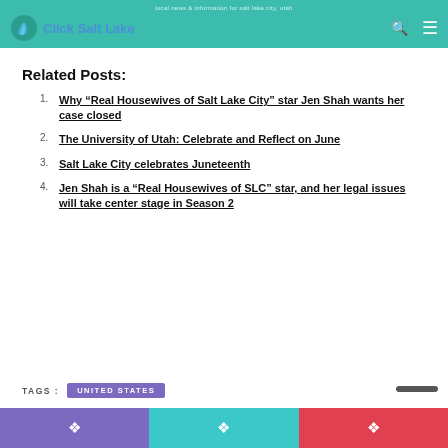Click Salt Lake
Related Posts:
1. Why “Real Housewives of Salt Lake City” star Jen Shah wants her case closed
2. The University of Utah: Celebrate and Reflect on June
3. Salt Lake City celebrates Juneteenth
4. Jen Shah is a “Real Housewives of SLC” star, and her legal issues will take center stage in Season 2
TAGS : UNITED STATES